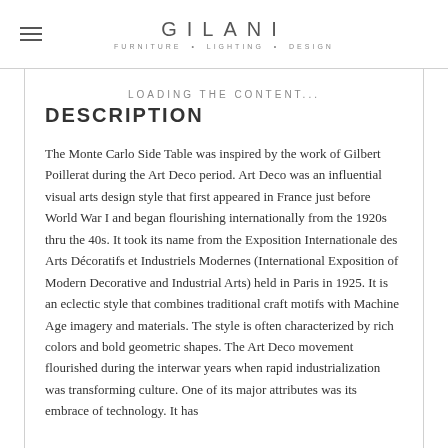GILANI
FURNITURE • LIGHTING • DESIGN
LOADING THE CONTENT...
DESCRIPTION
The Monte Carlo Side Table was inspired by the work of Gilbert Poillerat during the Art Deco period. Art Deco was an influential visual arts design style that first appeared in France just before World War I and began flourishing internationally from the 1920s thru the 40s. It took its name from the Exposition Internationale des Arts Décoratifs et Industriels Modernes (International Exposition of Modern Decorative and Industrial Arts) held in Paris in 1925. It is an eclectic style that combines traditional craft motifs with Machine Age imagery and materials. The style is often characterized by rich colors and bold geometric shapes. The Art Deco movement flourished during the interwar years when rapid industrialization was transforming culture. One of its major attributes was its embrace of technology. It has